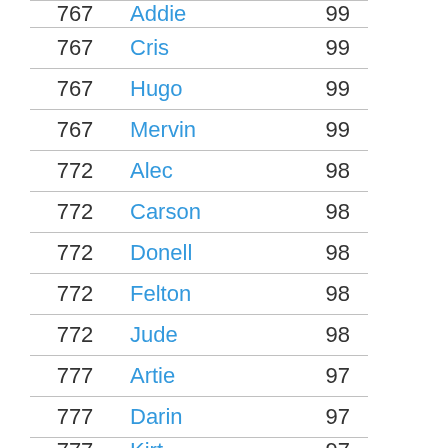| Rank | Name | Score |
| --- | --- | --- |
| 767 | Addie | 99 |
| 767 | Cris | 99 |
| 767 | Hugo | 99 |
| 767 | Mervin | 99 |
| 772 | Alec | 98 |
| 772 | Carson | 98 |
| 772 | Donell | 98 |
| 772 | Felton | 98 |
| 772 | Jude | 98 |
| 777 | Artie | 97 |
| 777 | Darin | 97 |
| 777 | Kirt | 97 |